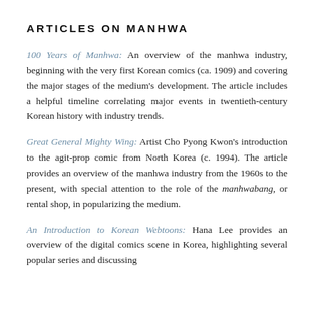ARTICLES ON MANHWA
100 Years of Manhwa: An overview of the manhwa industry, beginning with the very first Korean comics (ca. 1909) and covering the major stages of the medium's development. The article includes a helpful timeline correlating major events in twentieth-century Korean history with industry trends.
Great General Mighty Wing: Artist Cho Pyong Kwon's introduction to the agit-prop comic from North Korea (c. 1994). The article provides an overview of the manhwa industry from the 1960s to the present, with special attention to the role of the manhwabang, or rental shop, in popularizing the medium.
An Introduction to Korean Webtoons: Hana Lee provides an overview of the digital comics scene in Korea, highlighting several popular series and discussing